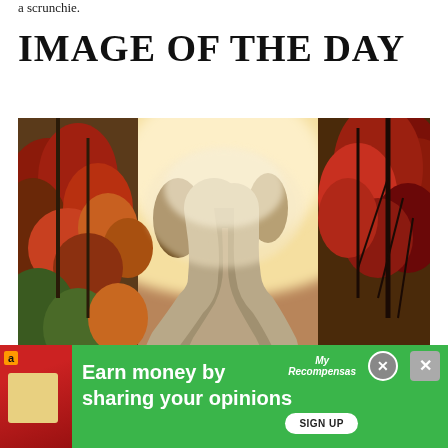a scrunchie.
IMAGE OF THE DAY
[Figure (photo): Autumn landscape photograph showing a winding river flowing through trees with red, orange, and yellow fall foliage on both sides, with misty foggy light in the background.]
[Figure (infographic): Green advertisement banner with Amazon logo icon, red figure graphic, text 'Earn money by sharing your opinions', MyReconpensas logo, SIGN UP button, and two close/dismiss buttons (circle X and square X).]